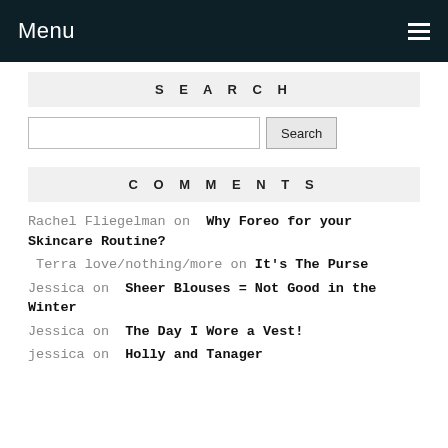Menu
SEARCH
Search input and button
COMMENTS
Rachel Fliegelman on Why Foreo for your Skincare Routine?
Terra love/nothing/more on It's The Purse
Jessica on Sheer Blouses = Not Good in the Winter
Jessica on The Day I Wore a Vest!
jessica on Holly and Tanager